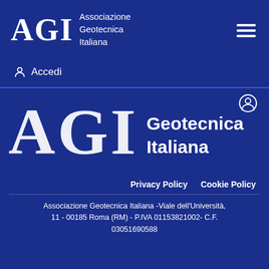[Figure (logo): AGI Associazione Geotecnica Italiana logo with hamburger menu icon in dark blue header bar]
Accedi
[Figure (logo): Large AGI logo with Geotecnica Italiana text and user icon on dark blue background]
Privacy Policy   Cookie Policy
Associazione Geotecnica Italiana -Viale dell'Università, 11 - 00185 Roma (RM) - P.IVA 01153821002- C.F. 03051690588